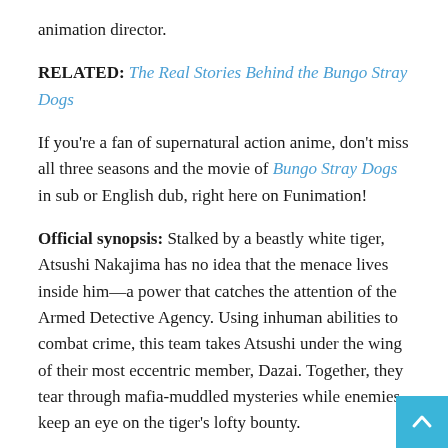animation director.
RELATED: The Real Stories Behind the Bungo Stray Dogs
If you're a fan of supernatural action anime, don't miss all three seasons and the movie of Bungo Stray Dogs in sub or English dub, right here on Funimation!
Official synopsis: Stalked by a beastly white tiger, Atsushi Nakajima has no idea that the menace lives inside him—a power that catches the attention of the Armed Detective Agency. Using inhuman abilities to combat crime, this team takes Atsushi under the wing of their most eccentric member, Dazai. Together, they tear through mafia-muddled mysteries while enemies keep an eye on the tiger's lofty bounty.